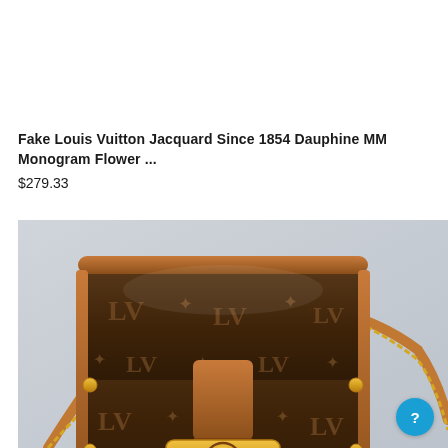Fake Louis Vuitton Jacquard Since 1854 Dauphine MM Monogram Flower ...
$279.33
[Figure (photo): Photo of a brown Louis Vuitton Dauphine MM monogram crossbody bag with leather trim, gold chain strap, and gold LV logo clasp, displayed against a light grey background. Social media share buttons (Facebook, Skype, scroll-up) visible on the right side.]